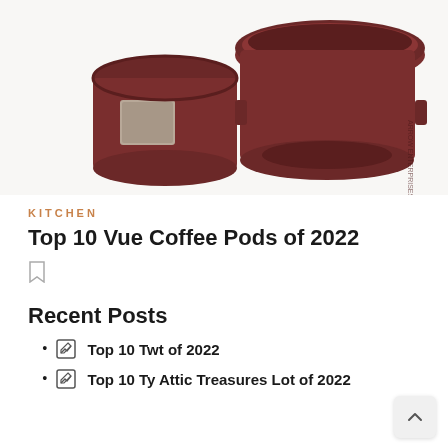[Figure (photo): Brown reusable K-cup/Vue coffee pod filters on white background, showing two pods, one assembled and one open/disassembled]
KITCHEN
Top 10 Vue Coffee Pods of 2022
Recent Posts
Top 10 Twt of 2022
Top 10 Ty Attic Treasures Lot of 2022